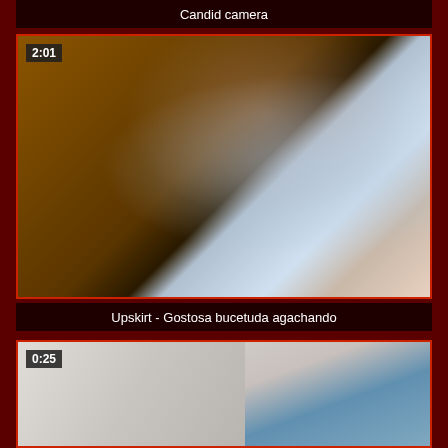Candid camera
[Figure (screenshot): Blurred video thumbnail with brownish orange on left and floral fabric on right, duration badge 2:01]
Upskirt - Gostosa bucetuda agachando
[Figure (screenshot): Blurred video thumbnail with light grey/beige tones, duration badge 0:25, with close button overlay]